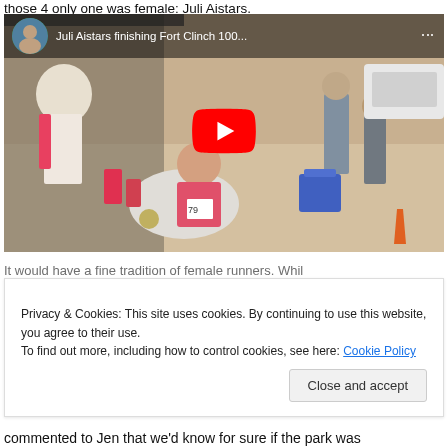those 4 only one was female: Juli Aistars.
[Figure (screenshot): YouTube video thumbnail showing 'Juli Aistars finishing Fort Clinch 100...' with a red play button in the center. Scene shows people at an outdoor event with a woman in a pink tank top wearing race bib #79 sitting in a chair.]
Privacy & Cookies: This site uses cookies. By continuing to use this website, you agree to their use.
To find out more, including how to control cookies, see here: Cookie Policy
commented to Jen that we'd know for sure if the park was